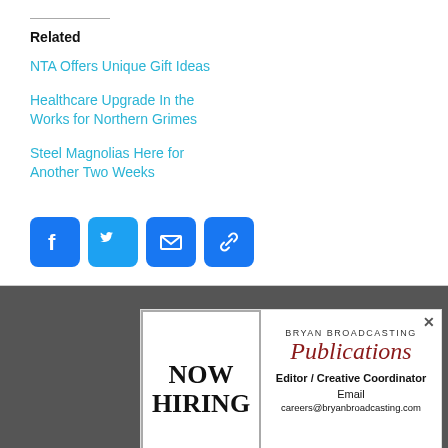Related
NTA Offers Unique Gift Ideas
Steel Magnolias Here for Another Two Weeks
Healthcare Upgrade In the Works for Northern Grimes
[Figure (infographic): Social media sharing icons: Facebook (blue), Twitter (blue), Email (blue envelope), Copy Link (blue chain link)]
[Figure (infographic): Advertisement: NOW HIRING - Bryan Broadcasting Publications, Editor / Creative Coordinator. Email: careers@bryanbroadcasting.com]